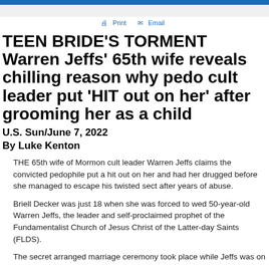Print  Email
TEEN BRIDE'S TORMENT Warren Jeffs' 65th wife reveals chilling reason why pedo cult leader put 'HIT out on her' after grooming her as a child
U.S. Sun/June 7, 2022
By Luke Kenton
THE 65th wife of Mormon cult leader Warren Jeffs claims the convicted pedophile put a hit out on her and had her drugged before she managed to escape his twisted sect after years of abuse.
Briell Decker was just 18 when she was forced to wed 50-year-old Warren Jeffs, the leader and self-proclaimed prophet of the Fundamentalist Church of Jesus Christ of the Latter-day Saints (FLDS).
The secret arranged marriage ceremony took place while Jeffs was on